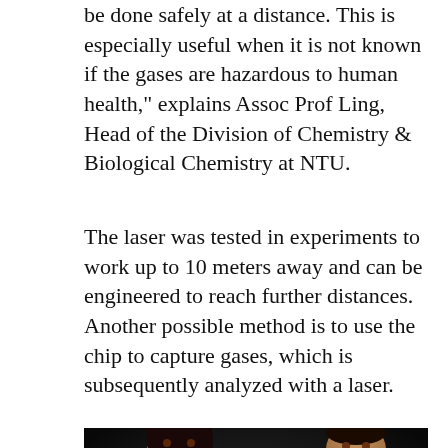be done safely at a distance. This is especially useful when it is not known if the gases are hazardous to human health," explains Assoc Prof Ling, Head of the Division of Chemistry & Biological Chemistry at NTU.
The laser was tested in experiments to work up to 10 meters away and can be engineered to reach further distances. Another possible method is to use the chip to capture gases, which is subsequently analyzed with a laser.
[Figure (photo): Two researchers, a woman on the left holding a white circular sensor chip and a man on the right in a white lab coat holding a tablet with a graph displayed, photographed against a dark background.]